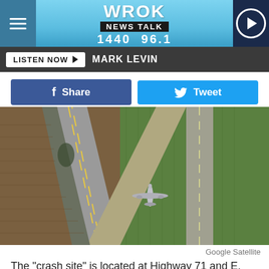WROK NEWS TALK 1440 96.1
LISTEN NOW ▶  MARK LEVIN
f Share   🐦 Tweet
[Figure (photo): Aerial satellite view (Google Satellite) of a road intersection with Highway 71 and E. 25th Road in Norway, Illinois. An airplane is visible on the ground near the intersection, surrounded by agricultural fields.]
Google Satellite
The "crash site" is located at Highway 71 and E. 25th Road in Norway, Illinois.